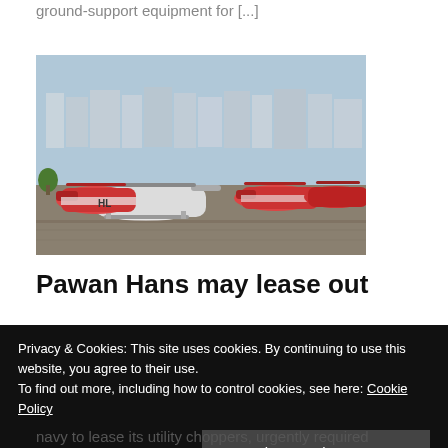ground-support equipment for [...]
[Figure (photo): Row of orange and white Pawan Hans helicopters parked on a tarmac with city buildings visible in the background.]
Pawan Hans may lease out
Privacy & Cookies: This site uses cookies. By continuing to use this website, you agree to their use.
To find out more, including how to control cookies, see here: Cookie Policy
Close and accept
navy to lease its utility choppers, urgently required